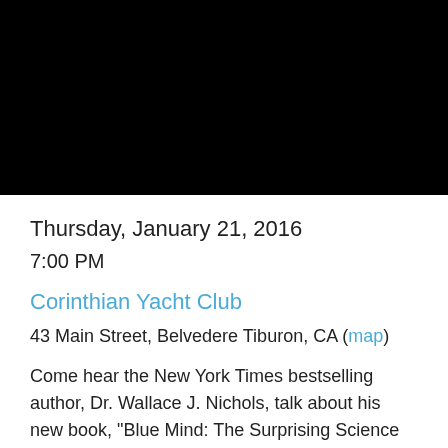[Figure (photo): Black rectangle image area at top of page]
Thursday, January 21, 2016
7:00 PM
Corinthian Yacht Club
43 Main Street, Belvedere Tiburon, CA (map)
Come hear the New York Times bestselling author, Dr. Wallace J. Nichols, talk about his new book, "Blue Mind: The Surprising Science That Shows How Being Near, In, On, or Under Water Can Make You Happier, Healthier, More Connected and Better at